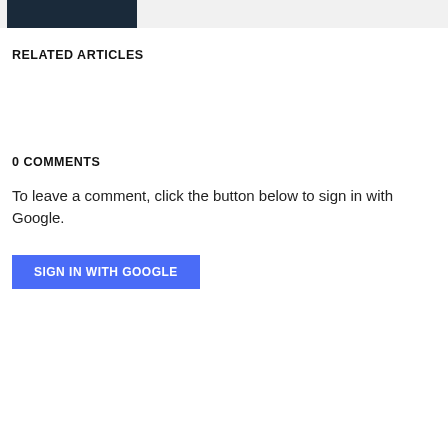[Figure (photo): Dark/night scene image thumbnail at top left of page]
RELATED ARTICLES
0 COMMENTS
To leave a comment, click the button below to sign in with Google.
SIGN IN WITH GOOGLE